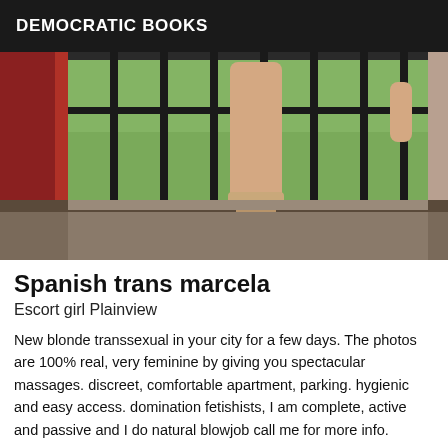DEMOCRATIC BOOKS
[Figure (photo): Photo showing a person's leg in high heels standing near a window with metal bars, with a red curtain on the left and greenery visible outside.]
Spanish trans marcela
Escort girl Plainview
New blonde transsexual in your city for a few days. The photos are 100% real, very feminine by giving you spectacular massages. discreet, comfortable apartment, parking. hygienic and easy access. domination fetishists, I am complete, active and passive and I do natural blowjob call me for more info.